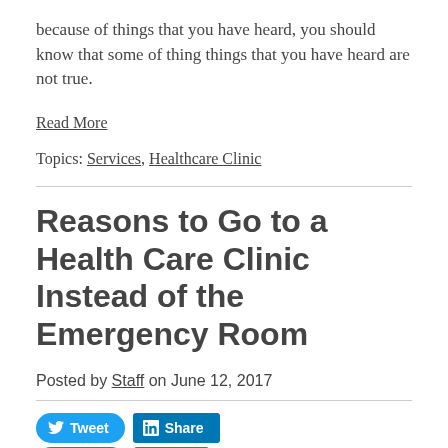if you have been avoiding doing a walk in clinic because of things that you have heard, you should know that some of thing things that you have heard are not true.
Read More
Topics: Services, Healthcare Clinic
Reasons to Go to a Health Care Clinic Instead of the Emergency Room
Posted by Staff on June 12, 2017
Tweet  Share  Like 0  Share